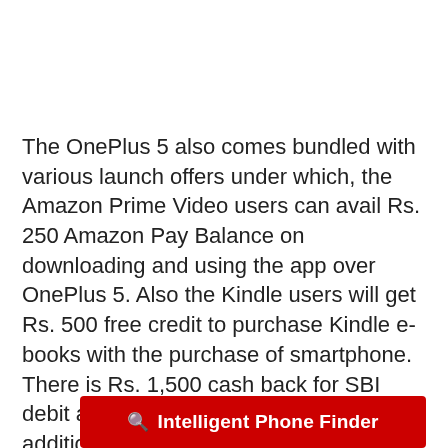The OnePlus 5 also comes bundled with various launch offers under which, the Amazon Prime Video users can avail Rs. 250 Amazon Pay Balance on downloading and using the app over OnePlus 5. Also the Kindle users will get Rs. 500 free credit to purchase Kindle e-books with the purchase of smartphone. There is Rs. 1,500 cash back for SBI debit and credit card users along with additional discounts up to Rs. 1,000 on exchange offers. Apart from this, Kotak is also offering 12-months accidental damage insurance with the smartphone for the ones who download and deposit Rs. 1,000 in the Kota
[Figure (other): Red button/banner with search icon and text 'Intelligent Phone Finder']